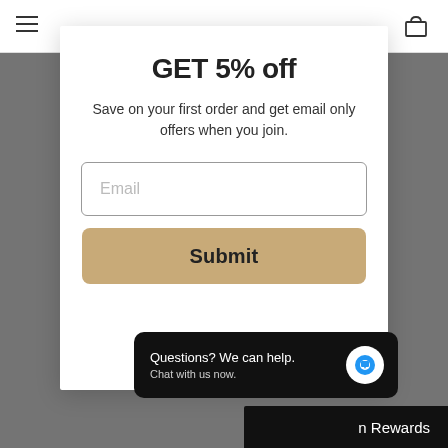Navigation bar with hamburger menu and cart icon
GET 5% off
Save on your first order and get email only offers when you join.
Email
Submit
Questions? We can help. Chat with us now.
n Rewards